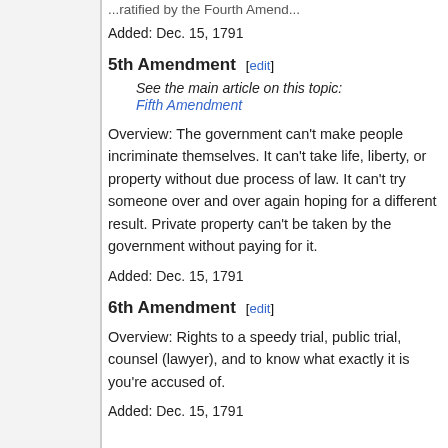...ratified by the Fourth Amend...
Added: Dec. 15, 1791
5th Amendment [edit]
See the main article on this topic:
Fifth Amendment
Overview: The government can't make people incriminate themselves. It can't take life, liberty, or property without due process of law. It can't try someone over and over again hoping for a different result. Private property can't be taken by the government without paying for it.
Added: Dec. 15, 1791
6th Amendment [edit]
Overview: Rights to a speedy trial, public trial, counsel (lawyer), and to know what exactly it is you're accused of.
Added: Dec. 15, 1791